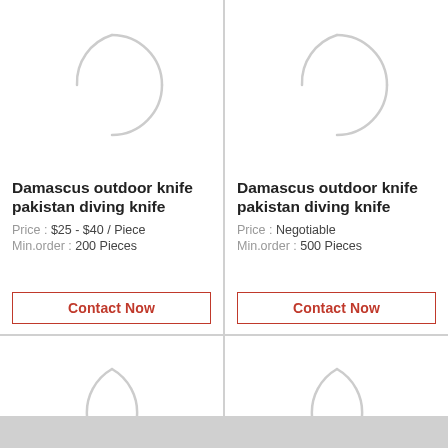[Figure (illustration): Loading spinner / placeholder circle graphic for product image (left card, top row)]
Damascus outdoor knife pakistan diving knife
Price : $25 - $40 / Piece
Min.order : 200 Pieces
Contact Now
[Figure (illustration): Loading spinner / placeholder circle graphic for product image (right card, top row)]
Damascus outdoor knife pakistan diving knife
Price : Negotiable
Min.order : 500 Pieces
Contact Now
[Figure (illustration): Loading spinner / placeholder circle graphic for product image (left card, bottom row, partially visible)]
[Figure (illustration): Loading spinner / placeholder circle graphic for product image (right card, bottom row, partially visible)]